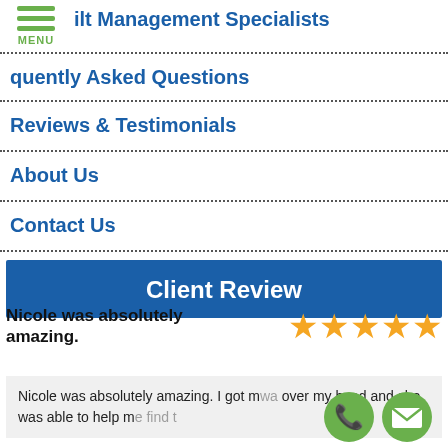ilt Management Specialists
quently Asked Questions
Reviews & Testimonials
About Us
Contact Us
Client Review
Nicole was absolutely amazing.
Nicole was absolutely amazing. I got m... wa... over my head and she was able to help me find t...